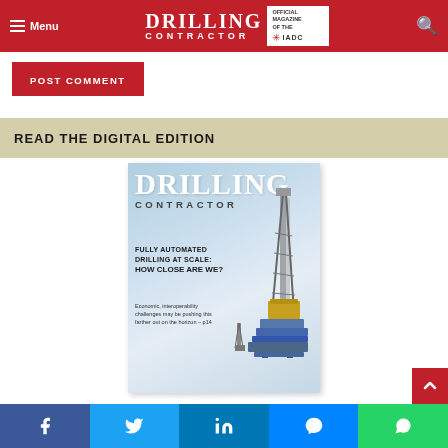Menu | DRILLING CONTRACTOR — Official Magazine of the IADC
POST COMMENT
READ THE DIGITAL EDITION
[Figure (illustration): Drilling Contractor magazine cover featuring 'FULLY AUTOMATED DRILLING AT SCALE: HOW CLOSE ARE WE?' headline with a drilling rig image. Subtext: 'Economic, interoperability challenges may be pushing this farther out on the horizon – p14']
Facebook | Twitter | LinkedIn | Messenger | WhatsApp social sharing buttons